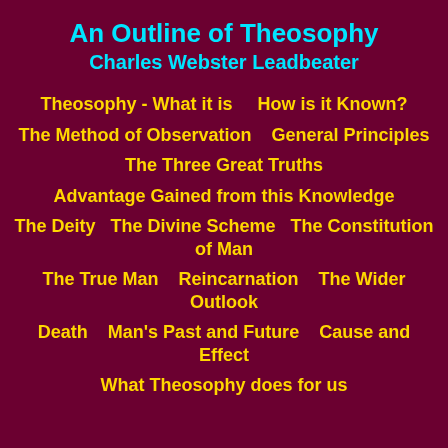An Outline of Theosophy
Charles Webster Leadbeater
Theosophy - What it is    How is it Known?
The Method of Observation   General Principles
The Three Great Truths
Advantage Gained from this Knowledge
The Deity  The Divine Scheme  The Constitution of Man
The True Man   Reincarnation   The Wider Outlook
Death   Man's Past and Future   Cause and Effect
What Theosophy does for us